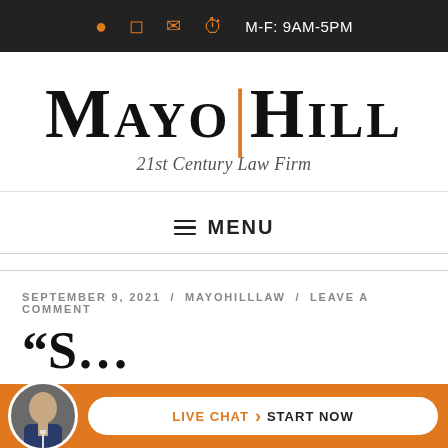M-F: 9AM-5PM
[Figure (logo): Mayo Hill 21st Century Law Firm logo — large serif uppercase text with orange vertical divider between MAYO and HILL, italic tagline below]
MENU
SEPTEMBER 9, 2021  /  MAYOHILLLAW  /  LEAVE A COMMENT
“S…
[Figure (infographic): Orange live chat bar at bottom with circular avatar photo of man in suit, white pill-shaped button with orange LIVE CHAT text, arrow, and bold START NOW text]